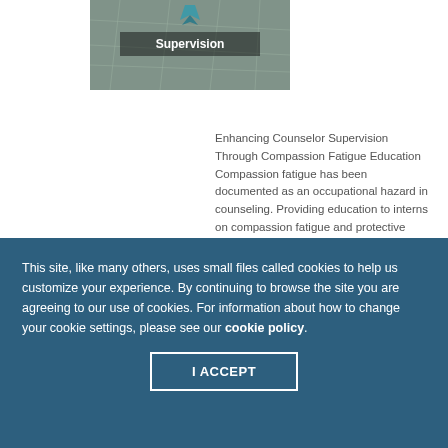[Figure (photo): Thumbnail image with label 'Supervision' overlaid, showing an abstract/map-like background in teal and grey tones]
Enhancing Counselor Supervision Through Compassion Fatigue Education Compassion fatigue has been documented as an occupational hazard in counseling. Providing education to interns on compassion fatigue and protective factors, such as self-care, can normalize struggles experienced by interns. Supervision provides a relationship to build skills to help
This site, like many others, uses small files called cookies to help us customize your experience. By continuing to browse the site you are agreeing to our use of cookies. For information about how to change your cookie settings, please see our cookie policy.
I ACCEPT